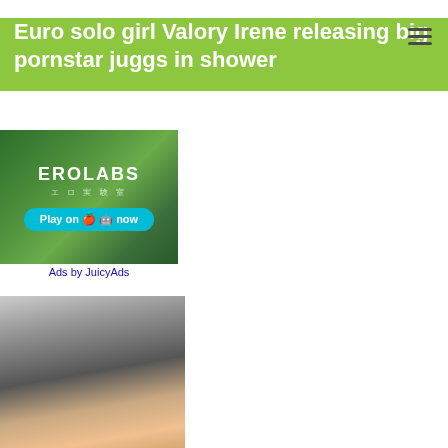Euro solo girl Valory Irene releasing big pornstar juggs in shower
[Figure (photo): EROLABS advertisement banner with Play on Apple and Android button]
Ads by JuicyAds
[Figure (photo): Photo of a woman lying back]